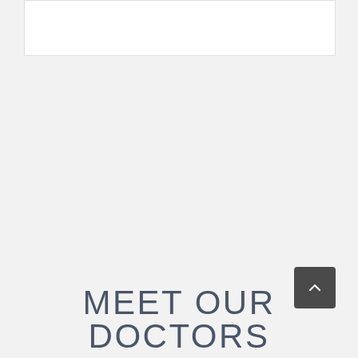[Figure (other): White rectangular box at the top of the page, likely an image placeholder or embedded content area]
[Figure (other): Dark grey rounded square scroll-to-top button with upward chevron arrow]
MEET OUR DOCTORS